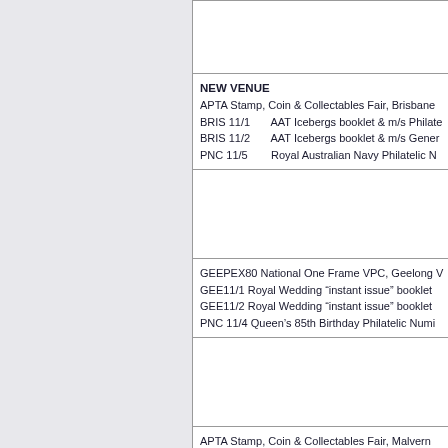(empty cell top)
NEW VENUE
APTA Stamp, Coin & Collectables Fair, Brisbane
BRIS 11/1   AAT Icebergs booklet & m/s Phila
BRIS 11/2   AAT Icebergs booklet & m/s Gener
PNC 11/5    Royal Australian Navy Philatelic N
(empty cell middle)
GEEPEX80 National One Frame VPC, Geelong
GEE11/1 Royal Wedding “instant issue” booklet
GEE11/2 Royal Wedding “instant issue” booklet
PNC 11/4 Queen’s 85th Birthday Philatelic Numi
(empty cell lower)
APTA Stamp, Coin & Collectables Fair, Malvern